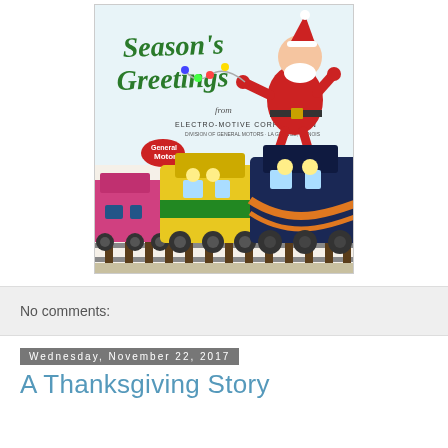[Figure (illustration): Vintage Season's Greetings Christmas card from Electro-Motive Corporation featuring Santa Claus running and pulling a string of lights, with three colorful diesel locomotives (pink, yellow-green, and dark blue) in the foreground on train tracks. Green cursive text reads 'Season's Greetings' and smaller text reads 'from ELECTRO-MOTIVE CORPORATION'. An EMD logo badge is visible.]
No comments:
Wednesday, November 22, 2017
A Thanksgiving Story